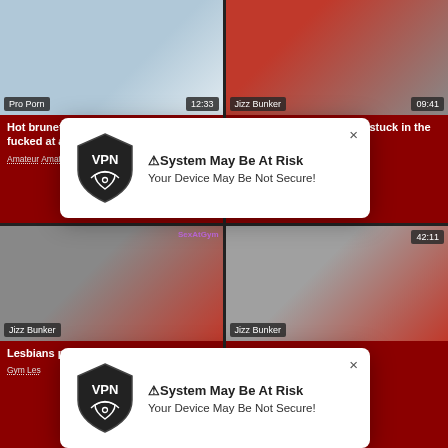[Figure (screenshot): Video thumbnail top-left: gym scene with badge 'Pro Porn' and duration '12:33']
Hot brunette with gym worked ass gets fucked at audition
Amateur  Amateur Tits
[Figure (screenshot): Video thumbnail top-right: gym scene with badge 'Jizz Bunker' and duration '09:41']
STUCK4K. Babes leg was stuck in the gym so she couldnt move
Babes  Gym  Blonde  Pov  Reality
[Figure (screenshot): Video thumbnail bottom-left: gym scene with badge 'Jizz Bunker', watermark 'SexAtGym']
Lesbians pussy be
Gym  Les
[Figure (screenshot): Video thumbnail bottom-right: gym scene with badge 'Jizz Bunker']
[Figure (screenshot): VPN popup 1: shield logo with 'VPN', title '⚠System May Be At Risk', subtitle 'Your Device May Be Not Secure!']
[Figure (screenshot): VPN popup 2: shield logo with 'VPN', title '⚠System May Be At Risk', subtitle 'Your Device May Be Not Secure!']